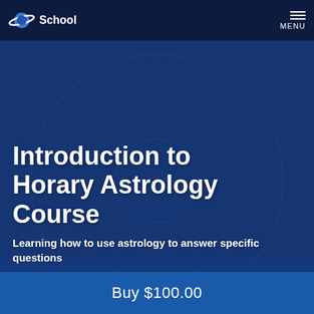Astrology School  MENU
[Figure (illustration): Dark blue hero background with zodiac/astrology wheel chart imagery overlaid with semi-transparent blue tint]
Introduction to Horary Astrology Course
Learning how to use astrology to answer specific questions
Buy $100.00